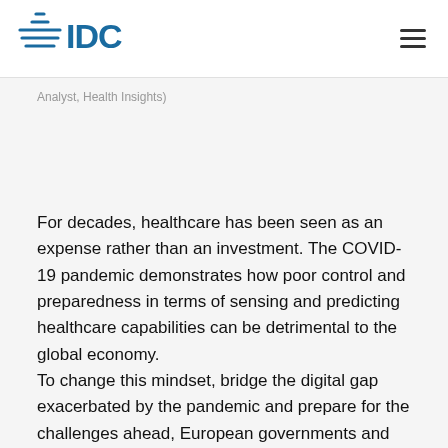IDC logo and navigation
Analyst, Health Insights)
For decades, healthcare has been seen as an expense rather than an investment. The COVID-19 pandemic demonstrates how poor control and preparedness in terms of sensing and predicting healthcare capabilities can be detrimental to the global economy.
To change this mindset, bridge the digital gap exacerbated by the pandemic and prepare for the challenges ahead, European governments and